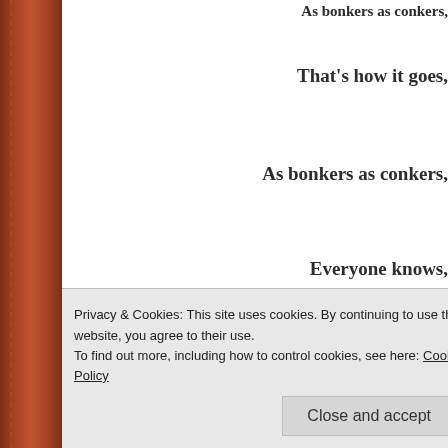As bonkers as conkers,
That's how it goes,
As bonkers as conkers,
Everyone knows,
Stories for children and adul
As bonkers as conkers, you
***************
Share this:
Privacy & Cookies: This site uses cookies. By continuing to use this website, you agree to their use.
To find out more, including how to control cookies, see here: Cookie Policy
Close and accept